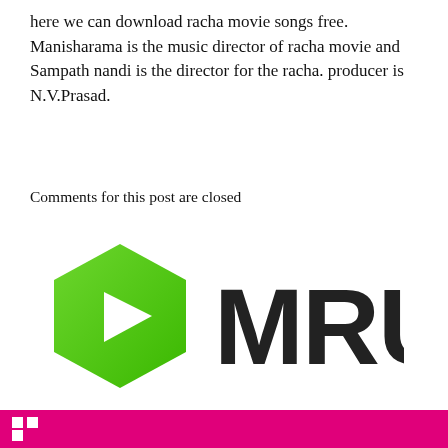here we can download racha movie songs free. Manisharama is the music director of racha movie and Sampath nandi is the director for the racha. producer is N.V.Prasad.
Comments for this post are closed
[Figure (logo): Marginal Revolution University logo: green hexagon with white play button triangle and bold black text 'MRU', with teal text 'Marginal Revolution University' below and a teal-bordered 'See Courses' button]
[Figure (photo): Bottom banner strip in magenta/pink color with a small white logo mark on the left]